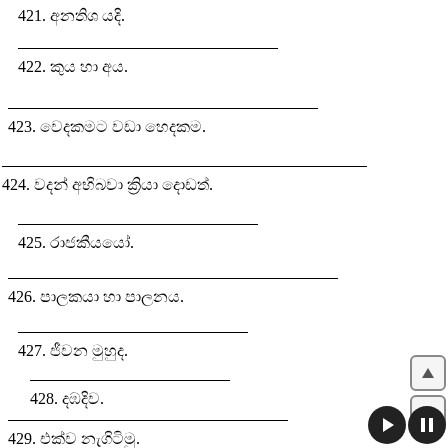421. අනතිශ යදි.
422. කුය හා අය.
423. වෙදකමට වඩා හෙදකම.
424. වදන් අභිබවා ක්‍රියා දොඩත්.
425. රාජකීයයෝ.
426. පාලකයා හා පාලනය.
427. ජීවන මුහුද.
428. දඹදිව.
429. එක්ව නැගිටිමු.